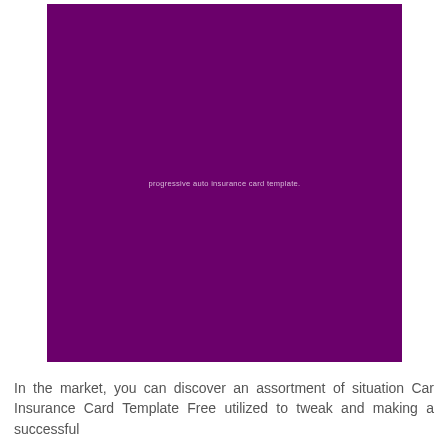[Figure (illustration): Large solid dark purple/magenta rectangle with small light text centered reading: progressive auto insurance card template.]
In the market, you can discover an assortment of situation Car Insurance Card Template Free utilized to tweak and making a successful